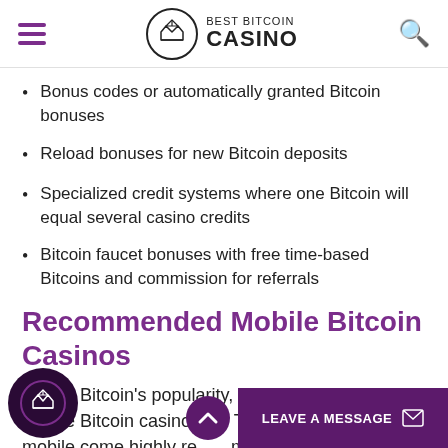Best Bitcoin Casino
Bonus codes or automatically granted Bitcoin bonuses
Reload bonuses for new Bitcoin deposits
Specialized credit systems where one Bitcoin will equal several casino credits
Bitcoin faucet bonuses with free time-based Bitcoins and commission for referrals
Recommended Mobile Bitcoin Casinos
Due to Bitcoin's popularity, it's super easy to find a mobile Bitcoin casino site. These top casinos on mobile come highly recommended.